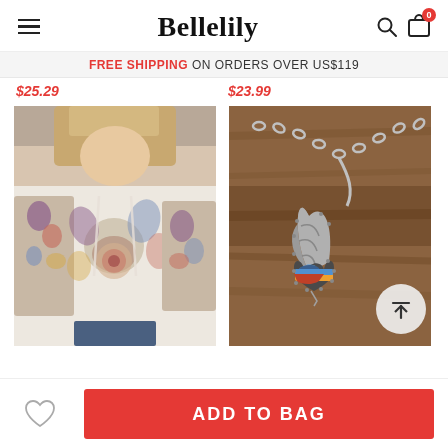Bellelily
FREE SHIPPING ON ORDERS OVER US$119
$25.29  $23.99
[Figure (photo): Woman wearing a boho floral print hoodie sweatshirt, white sleeves with colorful paisley/floral pattern body]
[Figure (photo): Silver moon and heart pendant necklace with colorful stone detail, placed on wooden surface]
ADD TO BAG